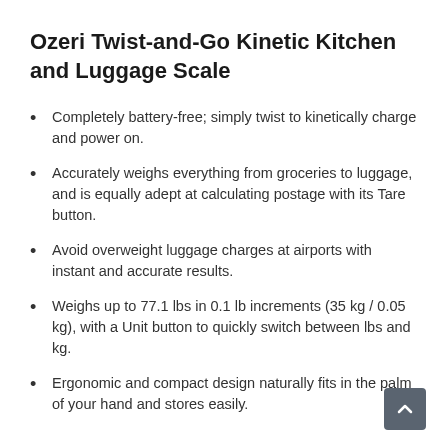Ozeri Twist-and-Go Kinetic Kitchen and Luggage Scale
Completely battery-free; simply twist to kinetically charge and power on.
Accurately weighs everything from groceries to luggage, and is equally adept at calculating postage with its Tare button.
Avoid overweight luggage charges at airports with instant and accurate results.
Weighs up to 77.1 lbs in 0.1 lb increments (35 kg / 0.05 kg), with a Unit button to quickly switch between lbs and kg.
Ergonomic and compact design naturally fits in the palm of your hand and stores easily.